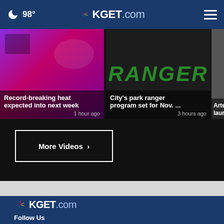🌙 98° | KGET.com
[Figure (screenshot): Video thumbnail 1: Record-breaking heat expected into next week - purple/pink background]
Record-breaking heat expected into next week
1 hour ago
[Figure (screenshot): Video thumbnail 2: City's park ranger program set for Nov. - dark background with RANGER text in green]
City's park ranger program set for Nov. ...
3 hours ago
[Figure (screenshot): Video thumbnail 3: Artemis launch - partially visible]
Artem... launcl...
More Videos ›
[Figure (logo): KGET.com logo in footer]
Follow Us